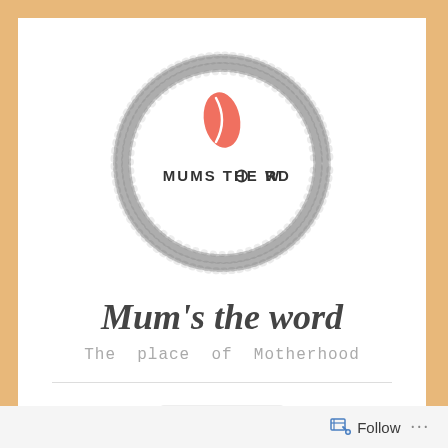[Figure (logo): Circular dotted/stippled logo border with a salmon/coral coffee bean icon inside and text 'MUMS THE WORD' in the center]
Mum's the word
The place of Motherhood
Menu
Follow ...